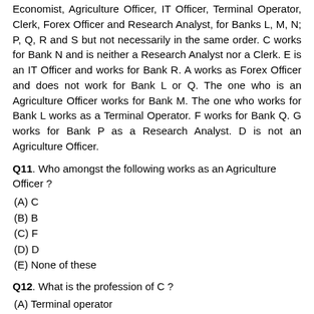Economist, Agriculture Officer, IT Officer, Terminal Operator, Clerk, Forex Officer and Research Analyst, for Banks L, M, N; P, Q, R and S but not necessarily in the same order. C works for Bank N and is neither a Research Analyst nor a Clerk. E is an IT Officer and works for Bank R. A works as Forex Officer and does not work for Bank L or Q. The one who is an Agriculture Officer works for Bank M. The one who works for Bank L works as a Terminal Operator. F works for Bank Q. G works for Bank P as a Research Analyst. D is not an Agriculture Officer.
Q11. Who amongst the following works as an Agriculture Officer ?
(A) C
(B) B
(C) F
(D) D
(E) None of these
Q12. What is the profession of C ?
(A) Terminal operator
(B) Agriculture Officer
(C) Economist